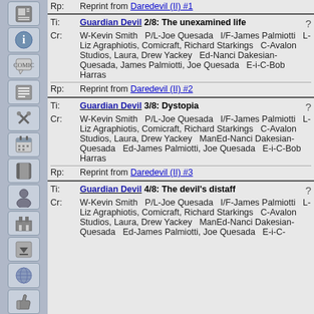Rp: Reprint from Daredevil (II) #1
Ti: Guardian Devil 2/8: The unexamined life
Cr: W-Kevin Smith  P/L-Joe Quesada  I/F-James Palmiotti  L-Liz Agraphiotis, Comicraft, Richard Starkings  C-Avalon Studios, Laura, Drew Yackey  Ed-Nanci Dakesian-Quesada, James Palmiotti, Joe Quesada  E-i-C-Bob Harras
Rp: Reprint from Daredevil (II) #2
Ti: Guardian Devil 3/8: Dystopia
Cr: W-Kevin Smith  P/L-Joe Quesada  I/F-James Palmiotti  L-Liz Agraphiotis, Comicraft, Richard Starkings  C-Avalon Studios, Laura, Drew Yackey  ManEd-Nanci Dakesian-Quesada  Ed-James Palmiotti, Joe Quesada  E-i-C-Bob Harras
Rp: Reprint from Daredevil (II) #3
Ti: Guardian Devil 4/8: The devil's distaff
Cr: W-Kevin Smith  P/L-Joe Quesada  I/F-James Palmiotti  L-Liz Agraphiotis, Comicraft, Richard Starkings  C-Avalon Studios, Laura, Drew Yackey  ManEd-Nanci Dakesian-Quesada  Ed-James Palmiotti, Joe Quesada  E-i-C-